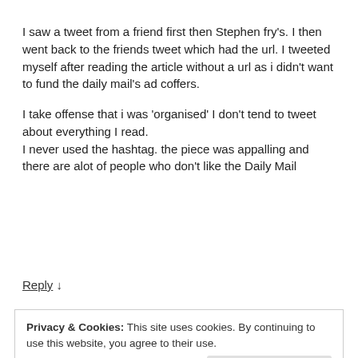I saw a tweet from a friend first then Stephen fry's. I then went back to the friends tweet which had the url. I tweeted myself after reading the article without a url as i didn't want to fund the daily mail's ad coffers.
I take offense that i was 'organised' I don't tend to tweet about everything I read.
I never used the hashtag. the piece was appalling and there are alot of people who don't like the Daily Mail
Reply ↓
Privacy & Cookies: This site uses cookies. By continuing to use this website, you agree to their use.
To find out more, including how to control cookies, see here: Cookie Policy
Close and accept